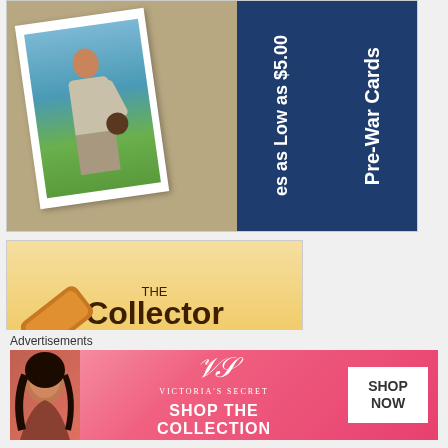[Figure (illustration): Advertisement banner for pre-war baseball cards. Left side shows a vintage baseball card with a player image on a tan/khaki background. Right dark navy blue section has white vertical text reading 'Pre-War Cards' and 'as Low as $5.00']
[Figure (illustration): Advertisement for 'The Collector Connection' auction house with AU-006065-L license number. Features a golden/amber gavel on a warm gradient background.]
Advertisements
[Figure (illustration): Victoria's Secret advertisement in pink/red gradient. Shows woman's face on left, VS logo mark in center with 'Victoria's Secret' text, 'SHOP THE COLLECTION' text, and 'SHOP NOW' button on right.]